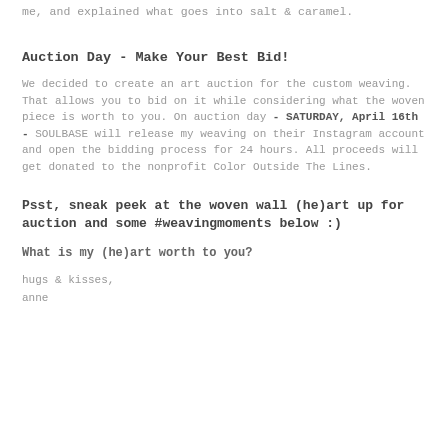me, and explained what goes into salt & caramel.
Auction Day - Make Your Best Bid!
We decided to create an art auction for the custom weaving. That allows you to bid on it while considering what the woven piece is worth to you. On auction day - SATURDAY, April 16th - SOULBASE will release my weaving on their Instagram account and open the bidding process for 24 hours. All proceeds will get donated to the nonprofit Color Outside The Lines.
Psst, sneak peek at the woven wall (he)art up for auction and some #weavingmoments below :)
What is my (he)art worth to you?
hugs & kisses,
anne